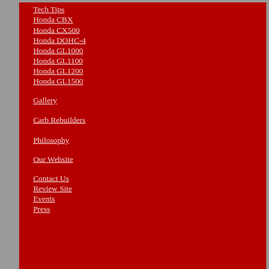Tech Tips
Honda CBX
Honda CX500
Honda DOHC-4
Honda GL1000
Honda GL1100
Honda GL1200
Honda GL1500
Gallery
Carb Rebuilders
Philosophy
Our Website
Contact Us
Review Site
Events
Press